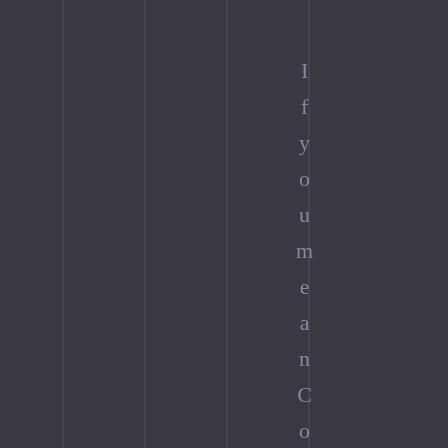[Figure (illustration): Dark gray/purple background with vertical thin lighter stripe lines on the left half of the page, and vertically stacked individual letters spelling 'If you mean Confu' on the right half of the page.]
If you mean Confu